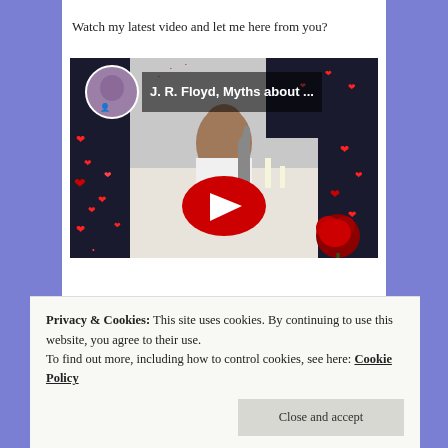Watch my latest video and let me here from you?
[Figure (screenshot): YouTube video thumbnail showing a woman in white dress with title 'J. R. Floyd, Myths about ...' and red heart decorations, with YouTube play button overlay]
Privacy & Cookies: This site uses cookies. By continuing to use this website, you agree to their use.
To find out more, including how to control cookies, see here: Cookie Policy
Close and accept